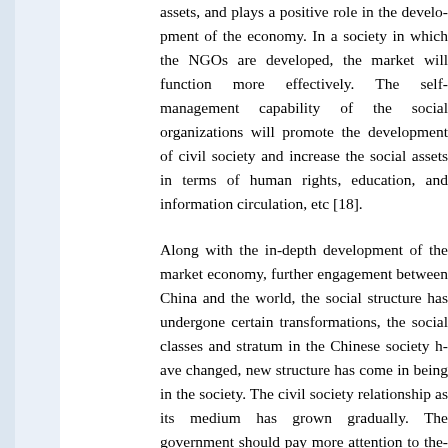assets, and plays a positive role in the development of the economy. In a society in which the NGOs are developed, the market will function more effectively. The enhancement of self-management capability of the social organizations will promote the development of civil society and increase the social assets in terms of human rights, education, and information circulation, etc [18].
Along with the in-depth development of the market economy, further engagement between China and the world, the social structure has undergone certain transformations, the social classes and stratum in the Chinese society have changed, new structure has come in being in the society. The civil society relationship as its medium has grown gradually. The government should pay more attention to the development of NGOs, together with the establishment of solid right base as the right base of the social bodies, which points out the direction for the transition of the Chinese society. Through the fostering and development of the NGOs with the following targets: further reform of the government functions, the governance relationship, etc.